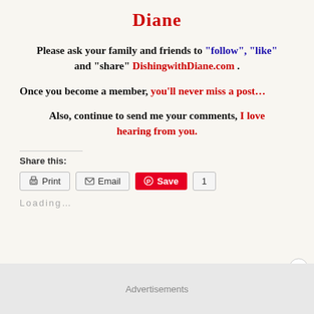Diane
Please ask your family and friends to "follow", "like" and "share" DishingwithDiane.com .
Once you become a member, you'll never miss a post...
Also, continue to send me your comments, I love hearing from you.
Share this:
Print | Email | Save | 1
Loading...
Advertisements